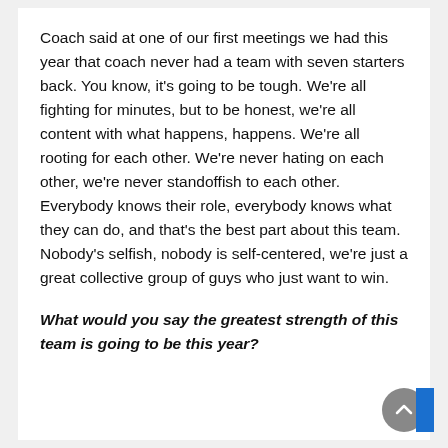Coach said at one of our first meetings we had this year that coach never had a team with seven starters back. You know, it’s going to be tough. We’re all fighting for minutes, but to be honest, we’re all content with what happens, happens. We’re all rooting for each other. We’re never hating on each other, we’re never standoffish to each other. Everybody knows their role, everybody knows what they can do, and that’s the best part about this team. Nobody’s selfish, nobody is self-centered, we’re just a great collective group of guys who just want to win.
What would you say the greatest strength of this team is going to be this year?